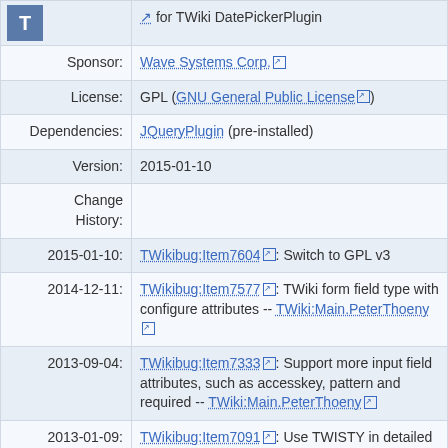| [T icon] | for TWiki DatePickerPlugin |
| Sponsor: | Wave Systems Corp. |
| License: | GPL (GNU General Public License) |
| Dependencies: | JQueryPlugin (pre-installed) |
| Version: | 2015-01-10 |
| Change History: |  |
| 2015-01-10: | TWikibug:Item7604: Switch to GPL v3 |
| 2014-12-11: | TWikibug:Item7577: TWiki form field type with configure attributes -- TWiki:Main.PeterThoeny |
| 2013-09-04: | TWikibug:Item7333: Support more input field attributes, such as accesskey, pattern and required -- TWiki:Main.PeterThoeny |
| 2013-01-09: | TWikibug:Item7091: Use TWISTY in detailed documentation section, installation instructions -- TWiki:Main.PeterThoeny |
| 2012-12-20: | TWikibug:Item7077: Initial version, partly based on work of |